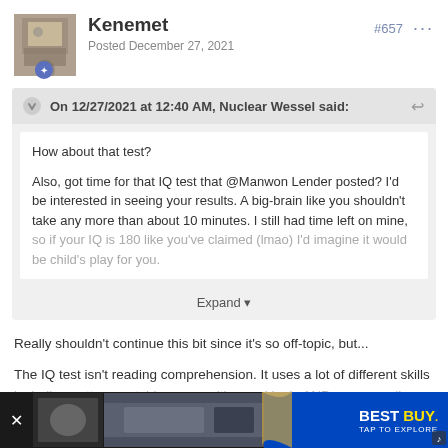Kenemet — Posted December 27, 2021 — #657
On 12/27/2021 at 12:40 AM, Nuclear Wessel said:
How about that test?

Also, got time for that IQ test that @Manwon Lender posted? I'd be interested in seeing your results. A big-brain like you shouldn't take any more than about 10 minutes. I still had time left on mine, so if your IQ is 180 like you've claimed (lmao) I'd imagine it would be child's play for you.
Expand
Really shouldn't continue this bit since it's so off-topic, but...
The IQ test isn't reading comprehension.  It uses a lot of different skills including pattern matching recognition and logic AND some reading...